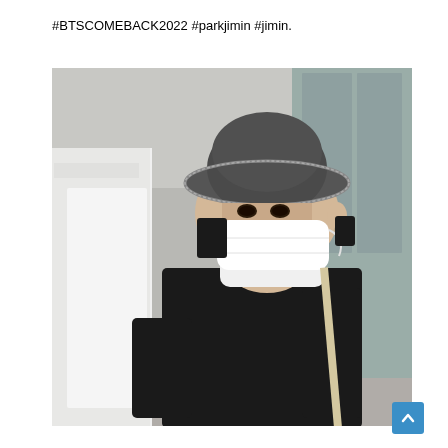#BTSCOMEBACK2022 #parkjimin #jimin.
[Figure (photo): A person wearing a grey bucket hat and white face mask, dressed in a black long-sleeve top with a bag strap visible, standing outdoors near a building. Another person in a white shirt is partially visible on the left. A yellow circular sign is visible in the background.]